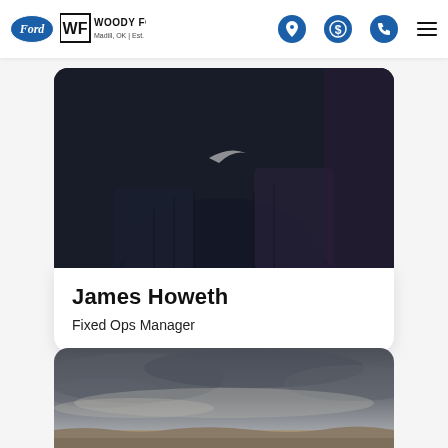Woody Ford — Madill, OK | Est. 1920
[Figure (photo): Person wearing a dark navy Nike shirt, partial upper body view against dark background — James Howeth profile photo]
James Howeth
Fixed Ops Manager
[Figure (photo): Stormy cloudy sky landscape with rocky terrain at the bottom, dramatic overcast weather scene]